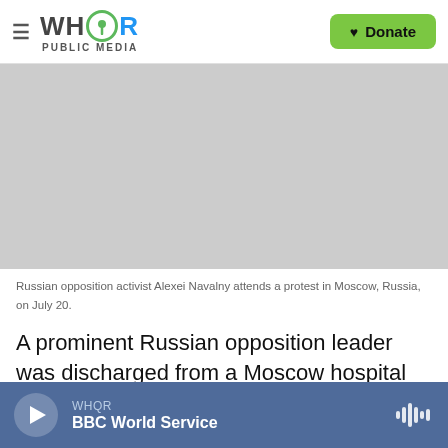WHQR PUBLIC MEDIA — Donate
[Figure (photo): Gray placeholder area where photo of Russian opposition activist Alexei Navalny would appear]
Russian opposition activist Alexei Navalny attends a protest in Moscow, Russia, on July 20.
A prominent Russian opposition leader was discharged from a Moscow hospital Monday and sent back to jail, despite claims by his doctor that he may have been poisoned by an unknown
WHQR — BBC World Service